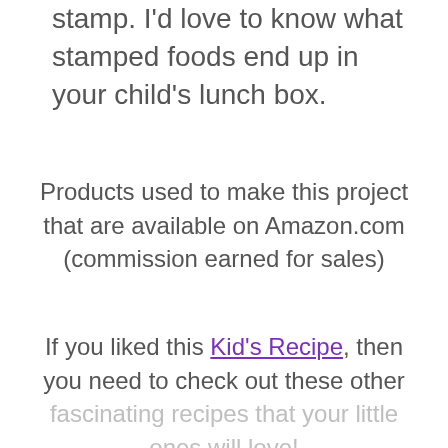stamp. I'd love to know what stamped foods end up in your child's lunch box.
Products used to make this project that are available on Amazon.com (commission earned for sales)
If you liked this Kid's Recipe, then you need to check out these other fascinating recipes that your little ones will love!